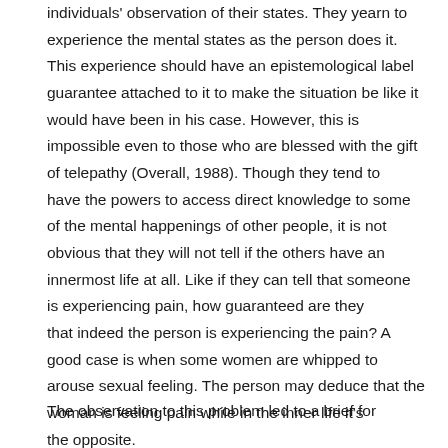individuals' observation of their states. They yearn to experience the mental states as the person does it. This experience should have an epistemological label guarantee attached to it to make the situation be like it would have been in his case. However, this is impossible even to those who are blessed with the gift of telepathy (Overall, 1988). Though they tend to have the powers to access direct knowledge to some of the mental happenings of other people, it is not obvious that they will not tell if the others have an innermost life at all. Like if they can tell that someone is experiencing pain, how guaranteed are they that indeed the person is experiencing the pain? A good case is when some women are whipped to arouse sexual feeling. The person may deduce that the woman is feeling pain while in the inner life it's the opposite.
The observation of this problem led to a brief for...